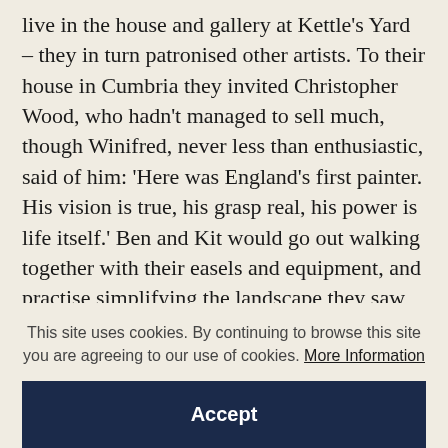live in the house and gallery at Kettle's Yard – they in turn patronised other artists. To their house in Cumbria they invited Christopher Wood, who hadn't managed to sell much, though Winifred, never less than enthusiastic, said of him: 'Here was England's first painter. His vision is true, his grasp real, his power is life itself.' Ben and Kit would go out walking together with their easels and equipment, and practise simplifying the landscape they saw until they were drawing just the bare essentials. Ben's exercises here were
This site uses cookies. By continuing to browse this site you are agreeing to our use of cookies. More Information
Accept